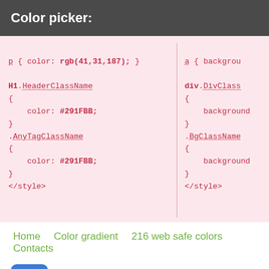Color picker:
[Figure (screenshot): Two-column code display showing CSS code snippets with color values rgb(41,31,187) and #291FBB, with class selectors H1.HeaderClassName, .AnyTagClassName on the left; div.DivClassName, .BgClassName on the right, both ending with </style>]
Home
Color gradient
216 web safe colors
Contacts
Made by Koshevoy Dmitry [contacts],
© 2014-2021 Ukraine, Mykolayiv.